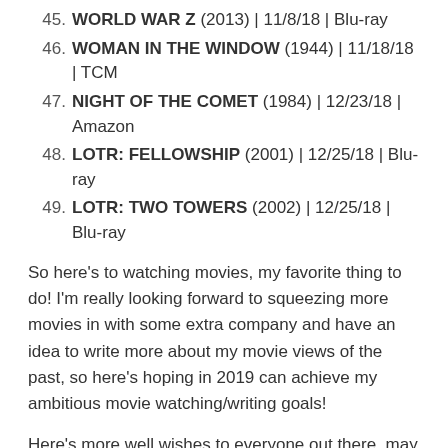45. WORLD WAR Z (2013) | 11/8/18 | Blu-ray
46. WOMAN IN THE WINDOW (1944) | 11/18/18 | TCM
47. NIGHT OF THE COMET (1984) | 12/23/18 | Amazon
48. LOTR: FELLOWSHIP (2001) | 12/25/18 | Blu-ray
49. LOTR: TWO TOWERS (2002) | 12/25/18 | Blu-ray
So here's to watching movies, my favorite thing to do! I'm really looking forward to squeezing more movies in with some extra company and have an idea to write more about my movie views of the past, so here's hoping in 2019 can achieve my ambitious movie watching/writing goals!
Here's more well wishes to everyone out there, may you find the things they enjoy and share them!  I absolutely hope I can keep on sharing my movie watching fun, which I know will slow up some, but for a great cause